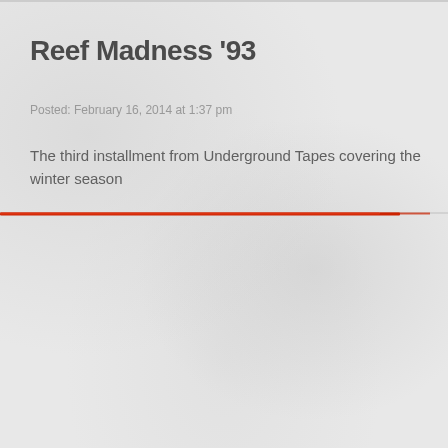Reef Madness '93
Posted: February 16, 2014 at 1:37 pm
The third installment from Underground Tapes covering the winter season